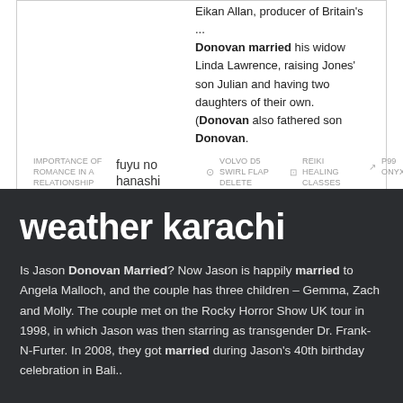Eikan Allan, producer of Britain's ... Donovan married his widow Linda Lawrence, raising Jones' son Julian and having two daughters of their own. (Donovan also fathered son Donovan.
IMPORTANCE OF ROMANCE IN A RELATIONSHIP
fuyu no hanashi english
VOLVO D5 SWIRL FLAP DELETE
REIKI HEALING CLASSES
P99 ONYX
weather karachi
Is Jason Donovan Married? Now Jason is happily married to Angela Malloch, and the couple has three children – Gemma, Zach and Molly. The couple met on the Rocky Horror Show UK tour in 1998, in which Jason was then starring as transgender Dr. Frank-N-Furter. In 2008, they got married during Jason's 40th birthday celebration in Bali..